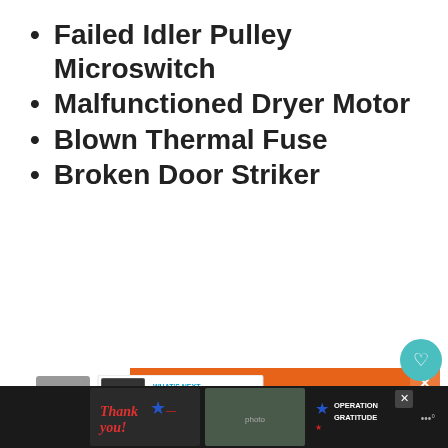Failed Idler Pulley Microswitch
Malfunctioned Dryer Motor
Blown Thermal Fuse
Broken Door Striker
[Figure (infographic): Orange No Kid Hungry advertisement banner with text 'You can help hungry kids.' and LEARN HOW button, with close X button]
[Figure (infographic): Back to top chevron button (gray square), What's Next panel with dryer image and '5 Reasons Why Dryer...' text, heart/share sidebar buttons]
[Figure (infographic): Bottom dark ad bar with Operation Gratitude advertisement and thank you military imagery]